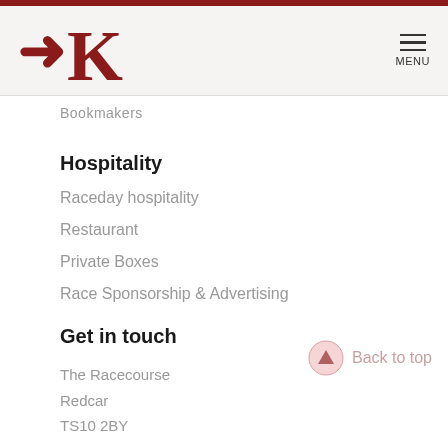Bookmakers
Hospitality
Raceday hospitality
Restaurant
Private Boxes
Race Sponsorship & Advertising
Get in touch
The Racecourse
Redcar
TS10 2BY